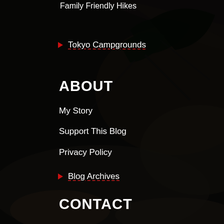Family Friendly Hikes
Tokyo Campgrounds
ABOUT
My Story
Support This Blog
Privacy Policy
Blog Archives
CONTACT
Ask Me Anything
Outdoor Allies
[Figure (infographic): Social media icons: Facebook, Instagram, Twitter, YouTube, RSS feed]